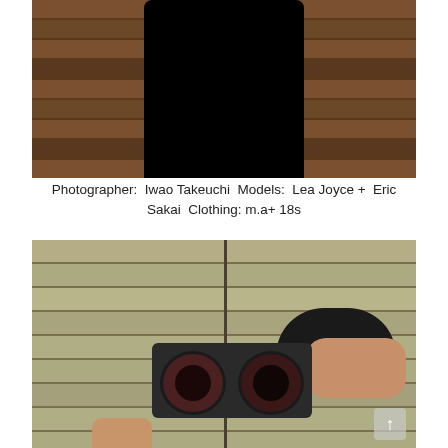[Figure (photo): Top photo: A dark silhouetted figure in black clothing standing in front of horizontal venetian blinds. The background shows warm brown/tan horizontal blind slats.]
Photographer: Iwao Takeuchi  Models: Lea Joyce + Eric Sakai  Clothing: m.a+ 18s
[Figure (photo): Bottom photo: A person holding large black binocular-style sunglasses up to their face against a background of horizontal green-grey siding panels with a vertical pipe/line. The person has dark hair visible. An upload/arrow icon appears in the bottom right corner.]